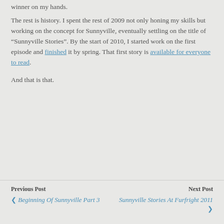The rest is history.  I spent the rest of 2009 not only honing my skills but working on the concept for Sunnyville, eventually settling on the title of “Sunnyville Stories”.  By the start of 2010, I started work on the first episode and finished it by spring.  That first story is available for everyone to read.
And that is that.
Previous Post | ‹ Beginning Of Sunnyville Part 3 | Next Post | Sunnyville Stories At Furfright 2011 ›